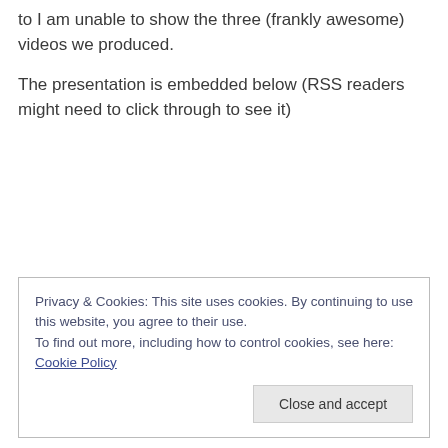to I am unable to show the three (frankly awesome) videos we produced.
The presentation is embedded below (RSS readers might need to click through to see it)
Privacy & Cookies: This site uses cookies. By continuing to use this website, you agree to their use.
To find out more, including how to control cookies, see here: Cookie Policy
Close and accept